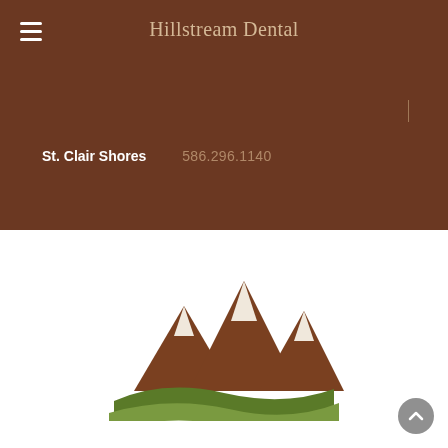Hillstream Dental
St. Clair Shores   586.296.1140
[Figure (logo): Hillstream Dental logo: stylized brown mountain peaks with green rolling hills/waves beneath, on white background]